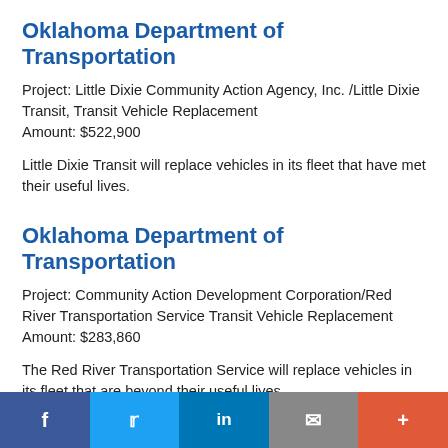Oklahoma Department of Transportation
Project: Little Dixie Community Action Agency, Inc. /Little Dixie Transit, Transit Vehicle Replacement
Amount: $522,900
Little Dixie Transit will replace vehicles in its fleet that have met their useful lives.
Oklahoma Department of Transportation
Project: Community Action Development Corporation/Red River Transportation Service Transit Vehicle Replacement
Amount: $283,860
The Red River Transportation Service will replace vehicles in its fleet that are beyond their useful lives.
f  [Twitter bird]  in  [envelope]  +